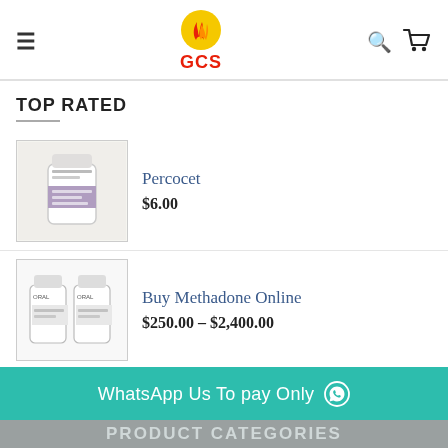GCS
TOP RATED
Percocet $6.00
Buy Methadone Online $250.00 – $2,400.00
methadone $225.00 – $1,500.00
WhatsApp Us To pay Only
PRODUCT CATEGORIES